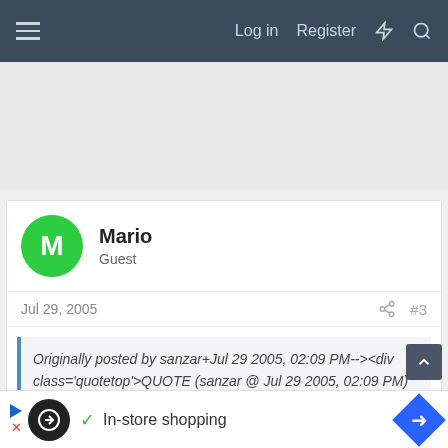≡   Log in   Register   ⚡   🔍
[Figure (other): Gray advertisement space placeholder]
Mario
Guest
Jul 29, 2005   #3
Originally posted by sanzar+Jul 29 2005, 02:09 PM--><div class='quotetop'>QUOTE (sanzar @ Jul 29 2005, 02:09 PM)</div>
<!--QuoteBegin-NZL fan
[Figure (other): Advertisement banner: In-store shopping with navigation arrow icon]